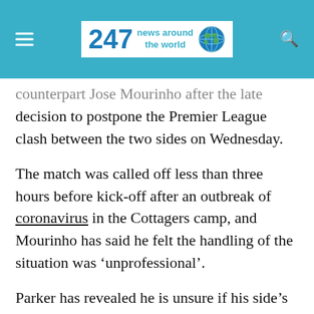247 news around the world
counterpart Jose Mourinho after the late decision to postpone the Premier League clash between the two sides on Wednesday.
The match was called off less than three hours before kick-off after an outbreak of coronavirus in the Cottagers camp, and Mourinho has said he felt the handling of the situation was ‘unprofessional’.
Parker has revealed he is unsure if his side’s next match against Burnley on Sunday will go ahead after the Covid-19 outbreak and, after